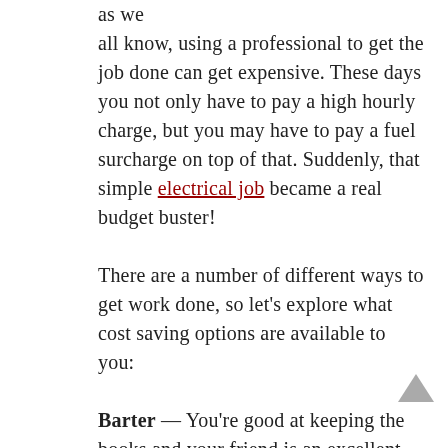as we all know, using a professional to get the job done can get expensive. These days you not only have to pay a high hourly charge, but you may have to pay a fuel surcharge on top of that. Suddenly, that simple electrical job became a real budget buster!

There are a number of different ways to get work done, so let's explore what cost saving options are available to you:

Barter — You're good at keeping the books and your friend is an excellent plumber. Why not help each other out? He'll replace the pipes in your bathroom (you pay for the